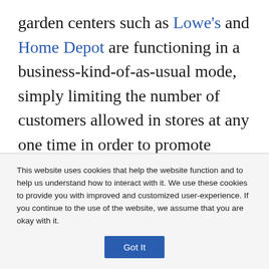garden centers such as Lowe's and Home Depot are functioning in a business-kind-of-as-usual mode, simply limiting the number of customers allowed in stores at any one time in order to promote proper social distancing. Meinke's Garden Center in Niles is open daily to the public, but is asking customers to wear masks and gloves.

Farmers Market, Chalet Nursery, City Grange and Christy Webber Farm & Garden, to name a few, are
This website uses cookies that help the website function and to help us understand how to interact with it. We use these cookies to provide you with improved and customized user-experience. If you continue to the use of the website, we assume that you are okay with it.
Got It